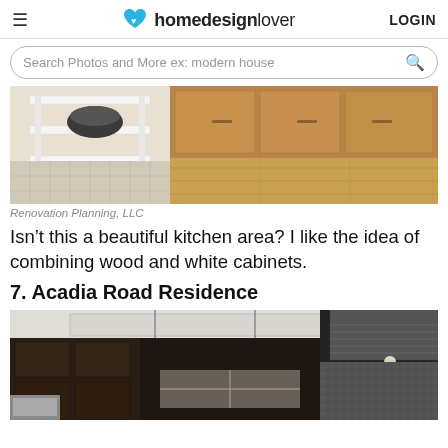homedesignlover LOGIN
Search Photos and More ex: modern house
[Figure (photo): Kitchen interior showing white shelving unit with bowl on left and warm wood cabinets with light hardwood floors on right]
Renovation Planning, LLC
Isn’t this a beautiful kitchen area? I like the idea of combining wood and white cabinets.
7. Acadia Road Residence
[Figure (photo): Modern kitchen interior with dark espresso cabinets, pendant lights hanging from ceiling, stainless steel range hood, and mosaic tile backsplash]